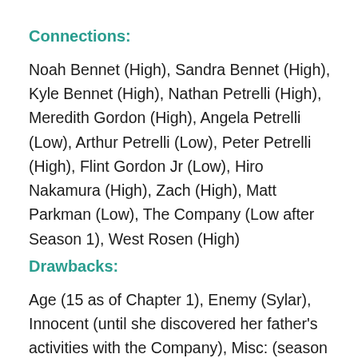Connections:
Noah Bennet (High), Sandra Bennet (High), Kyle Bennet (High), Nathan Petrelli (High), Meredith Gordon (High), Angela Petrelli (Low), Arthur Petrelli (Low), Peter Petrelli (High), Flint Gordon Jr (Low), Hiro Nakamura (High), Zach (High), Matt Parkman (Low), The Company (Low after Season 1), West Rosen (High)
Drawbacks:
Age (15 as of Chapter 1), Enemy (Sylar), Innocent (until she discovered her father's activities with the Company), Misc: (season